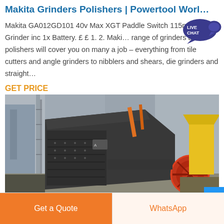Makita Grinders Polishers | Powertool Worl…
Makita GA012GD101 40v Max XGT Paddle Switch 115mm Angle Grinder inc 1x Battery. £ £ 1. 2. Maki… range of grinders and polishers will cover you on many a job – everything from tile cutters and angle grinders to nibblers and shears, die grinders and straight…
[Figure (other): Live Chat speech bubble icon with teal background, text LIVE CHAT in white]
GET PRICE
[Figure (photo): Large industrial grinding/crushing machine (dark grey) with red circular component, yellow equipment in background, industrial factory setting outdoors]
[Figure (other): Get a Quote orange button and WhatsApp button at bottom of page]